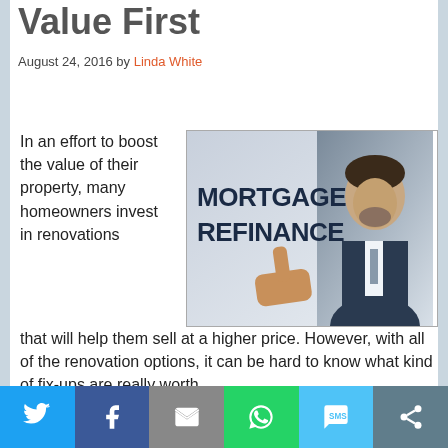Value First
August 24, 2016 by Linda White
In an effort to boost the value of their property, many homeowners invest in renovations that will help them sell at a higher price. However, with all of the renovation options, it can be hard to know what kind of fix-ups are really worth
[Figure (photo): Photo of a man in a suit pointing at text reading MORTGAGE REFINANCE]
Social sharing bar: Twitter, Facebook, Email, WhatsApp, SMS, Share